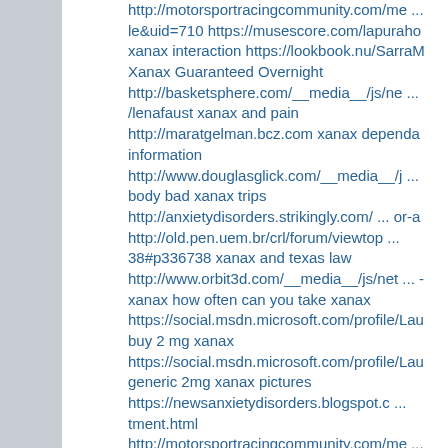http://motorsportracingcommunity.com/me ... le&uid=710 https://musescore.com/lapuraho xanax interaction https://lookbook.nu/SarraM Xanax Guaranteed Overnight http://basketsphere.com/__media__/js/ne ... /lenafaust xanax and pain http://maratgelman.bcz.com xanax dependa information http://www.douglasglick.com/__media__/j ... body bad xanax trips http://anxietydisorders.strikingly.com/ ... or-a http://old.pen.uem.br/crl/forum/viewtop ... 38#p336738 xanax and texas law http://www.orbit3d.com/__media__/js/net ... - xanax how often can you take xanax https://social.msdn.microsoft.com/profile/Lau buy 2 mg xanax https://social.msdn.microsoft.com/profile/Lau generic 2mg xanax pictures https://newsanxietydisorders.blogspot.c ... tment.html http://motorsportracingcommunity.com/me ... le&uid=710 xanax and the autonomic syste https://tawk.to/xanaxusa